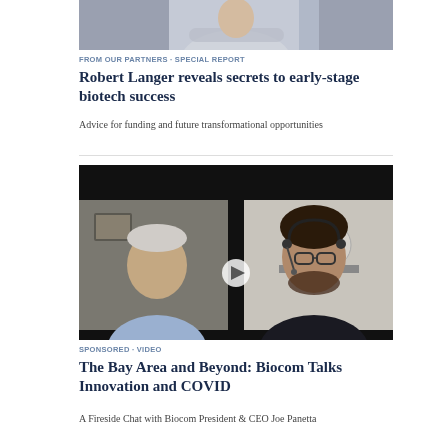[Figure (photo): Partial view of a person with arms crossed, professional setting]
FROM OUR PARTNERS · SPECIAL REPORT
Robert Langer reveals secrets to early-stage biotech success
Advice for funding and future transformational opportunities
[Figure (photo): Video thumbnail showing two people in a split-screen video call: an older man on the left and a younger man with glasses and headset on the right, with a play button overlay]
SPONSORED · VIDEO
The Bay Area and Beyond: Biocom Talks Innovation and COVID
A Fireside Chat with Biocom President & CEO Joe Panetta